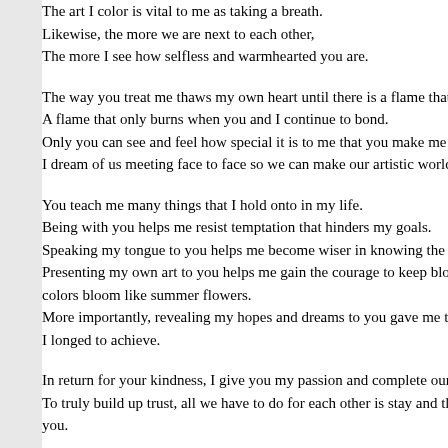The art I color is vital to me as taking a breath.
Likewise, the more we are next to each other,
The more I see how selfless and warmhearted you are.
The way you treat me thaws my own heart until there is a flame that surround...
A flame that only burns when you and I continue to bond.
Only you can see and feel how special it is to me that you make me feel that...
I dream of us meeting face to face so we can make our artistic worlds come...
You teach me many things that I hold onto in my life.
Being with you helps me resist temptation that hinders my goals.
Speaking my tongue to you helps me become wiser in knowing the right thin...
Presenting my own art to you helps me gain the courage to keep blossoming... colors bloom like summer flowers.
More importantly, revealing my hopes and dreams to you gave me the esca...
I longed to achieve.
In return for your kindness, I give you my passion and complete our missing...
To truly build up trust, all we have to do for each other is stay and that's wha...
you.
👀 View firexvulcan's Full Portfolio
tags:   caring   Colors   creative   dreams   fire   Happiness   Independ...